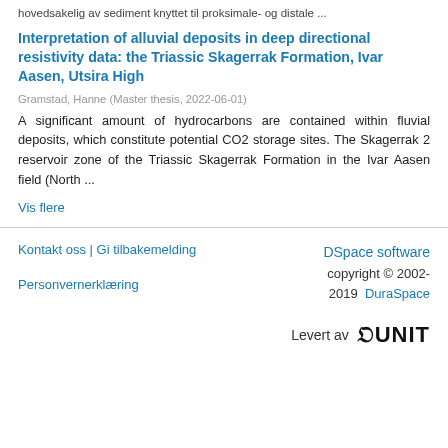hovedsakelig av sediment knyttet til proksimale- og distale ...
Interpretation of alluvial deposits in deep directional resistivity data: the Triassic Skagerrak Formation, Ivar Aasen, Utsira High
Gramstad, Hanne (Master thesis, 2022-06-01)
A significant amount of hydrocarbons are contained within fluvial deposits, which constitute potential CO2 storage sites. The Skagerrak 2 reservoir zone of the Triassic Skagerrak Formation in the Ivar Aasen field (North ...
Vis flere
Kontakt oss | Gi tilbakemelding | Personvernerklæring | DSpace software copyright © 2002-2019 DuraSpace | Levert av UNIT